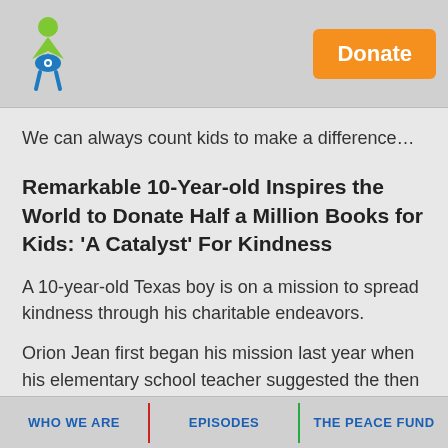[Figure (logo): Organization logo with green figure and blue eye/star design]
Donate
We can always count kids to make a difference…
Remarkable 10-Year-old Inspires the World to Donate Half a Million Books for Kids: 'A Catalyst' For Kindness
A 10-year-old Texas boy is on a mission to spread kindness through his charitable endeavors.
Orion Jean first began his mission last year when his elementary school teacher suggested the then 9-year-old enter the National Kindness Speech Contest. He ended up
WHO WE ARE   EPISODES   THE PEACE FUND